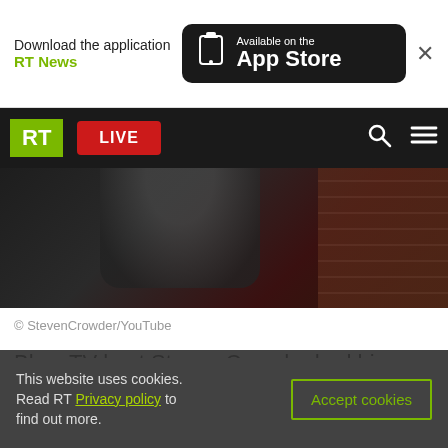[Figure (screenshot): App Store download banner for RT News application with black App Store button]
[Figure (screenshot): RT news website navigation bar with green RT logo, red LIVE button, search and menu icons on dark background]
[Figure (photo): Dark video thumbnail showing a person seated, with brick wall background]
© StevenCrowder/YouTube
BlazeTV host Steven Crowder had his Twitter account restricted after posting about a video investigative piece claiming numerous voter addresses in the 2020 presidential election were faked.
This website uses cookies. Read RT Privacy policy to find out more.